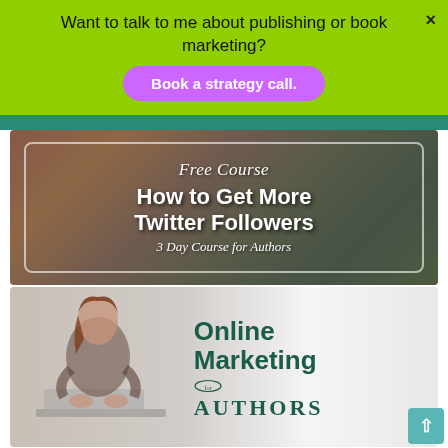Want to talk to me about publishing or book marketing?
Book a strategy call.
[Figure (illustration): Advertisement banner for 'Free Course: How to Get More Twitter Followers – 3 Day Course for Authors' with dark brownish-green background and white text in a rounded rectangle border.]
[Figure (illustration): Advertisement banner for 'Online Marketing for Authors' showing a woman seated at a laptop on the left, and teal/dark green text on the right.]